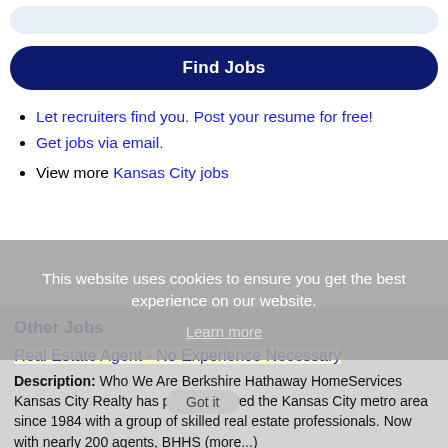[Figure (other): Search bar input field area (light blue rounded rectangle)]
Find Jobs
Let recruiters find you. Post your resume for free!
Get jobs via email.
View more Kansas City jobs
This website uses cookies to ensure you get the best experience on our website.
Learn more
Other Jobs
Real Estate Agent - No Experience Necessary
Description: Who We Are Berkshire Hathaway HomeServices Kansas City Realty has proudly served the Kansas City metro area since 1984 with a group of skilled real estate professionals. Now with nearly 200 agents, BHHS (more...)